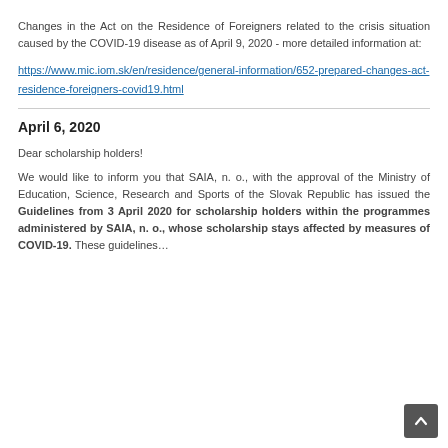Changes in the Act on the Residence of Foreigners related to the crisis situation caused by the COVID-19 disease as of April 9, 2020 - more detailed information at:
https://www.mic.iom.sk/en/residence/general-information/652-prepared-changes-act-residence-foreigners-covid19.html
April 6, 2020
Dear scholarship holders!
We would like to inform you that SAIA, n. o., with the approval of the Ministry of Education, Science, Research and Sports of the Slovak Republic has issued the Guidelines from 3 April 2020 for scholarship holders within the programmes administered by SAIA, n. o., whose scholarship stays affected by measures of COVID-19. These guidelines…